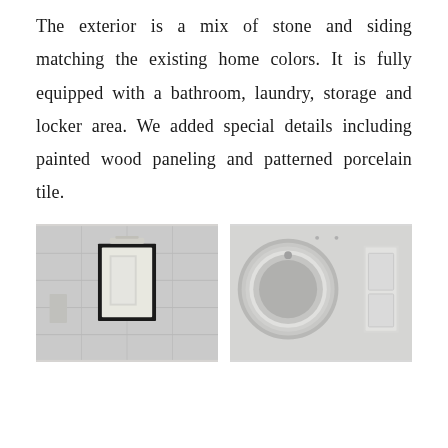The exterior is a mix of stone and siding matching the existing home colors. It is fully equipped with a bathroom, laundry, storage and locker area. We added special details including painted wood paneling and patterned porcelain tile.
[Figure (photo): Interior bathroom photo showing a black-framed mirror on white paneled walls]
[Figure (photo): Interior laundry area photo showing a round washer/dryer door and white walls]